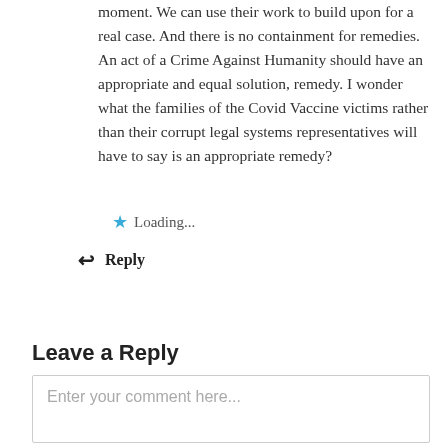moment. We can use their work to build upon for a real case. And there is no containment for remedies. An act of a Crime Against Humanity should have an appropriate and equal solution, remedy. I wonder what the families of the Covid Vaccine victims rather than their corrupt legal systems representatives will have to say is an appropriate remedy?
Loading...
Reply
Leave a Reply
Enter your comment here...